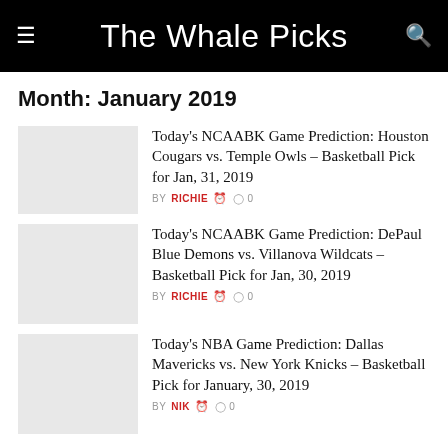The Whale Picks
Month: January 2019
Today's NCAABK Game Prediction: Houston Cougars vs. Temple Owls – Basketball Pick for Jan, 31, 2019
BY RICHIE  0
Today's NCAABK Game Prediction: DePaul Blue Demons vs. Villanova Wildcats – Basketball Pick for Jan, 30, 2019
BY RICHIE  0
Today's NBA Game Prediction: Dallas Mavericks vs. New York Knicks – Basketball Pick for January, 30, 2019
BY NIK  0